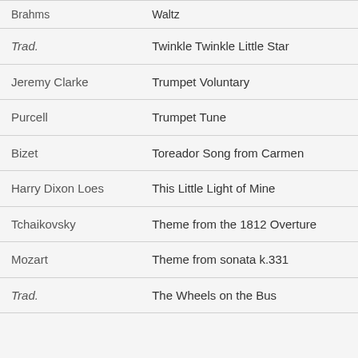| Composer | Title |
| --- | --- |
| Brahms | Waltz |
| Trad. | Twinkle Twinkle Little Star |
| Jeremy Clarke | Trumpet Voluntary |
| Purcell | Trumpet Tune |
| Bizet | Toreador Song from Carmen |
| Harry Dixon Loes | This Little Light of Mine |
| Tchaikovsky | Theme from the 1812 Overture |
| Mozart | Theme from sonata k.331 |
| Trad. | The Wheels on the Bus |